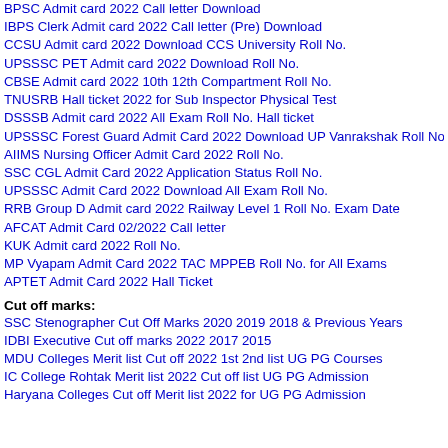BPSC Admit card 2022 Call letter Download (partial, cropped at top)
IBPS Clerk Admit card 2022 Call letter (Pre) Download
CCSU Admit card 2022 Download CCS University Roll No.
UPSSSC PET Admit card 2022 Download Roll No.
CBSE Admit card 2022 10th 12th Compartment Roll No.
TNUSRB Hall ticket 2022 for Sub Inspector Physical Test
DSSSB Admit card 2022 All Exam Roll No. Hall ticket
UPSSSC Forest Guard Admit Card 2022 Download UP Vanrakshak Roll No.
AIIMS Nursing Officer Admit Card 2022 Roll No.
SSC CGL Admit Card 2022 Application Status Roll No.
UPSSSC Admit Card 2022 Download All Exam Roll No.
RRB Group D Admit card 2022 Railway Level 1 Roll No. Exam Date
AFCAT Admit Card 02/2022 Call letter
KUK Admit card 2022 Roll No.
MP Vyapam Admit Card 2022 TAC MPPEB Roll No. for All Exams
APTET Admit Card 2022 Hall Ticket
Cut off marks:
SSC Stenographer Cut Off Marks 2020 2019 2018 & Previous Years
IDBI Executive Cut off marks 2022 2017 2015
MDU Colleges Merit list Cut off 2022 1st 2nd list UG PG Courses
IC College Rohtak Merit list 2022 Cut off list UG PG Admission
Haryana Colleges Cut off Merit list 2022 for UG PG Admission